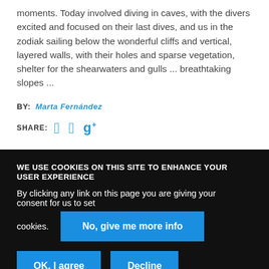moments. Today involved diving in caves, with the divers excited and focused on their last dives, and us in the zodiak sailing below the wonderful cliffs and vertical, layered walls, with their holes and sparse vegetation, shelter for the shearwaters and gulls ... breathtaking slopes ...
BY: Marta Fernández
SHARE: [facebook] [twitter] [google+]
WE USE COOKIES ON THIS SITE TO ENHANCE YOUR USER EXPERIENCE
By clicking any link on this page you are giving your consent for us to set cookies.
No, give me more info
OK, I agree
Decline